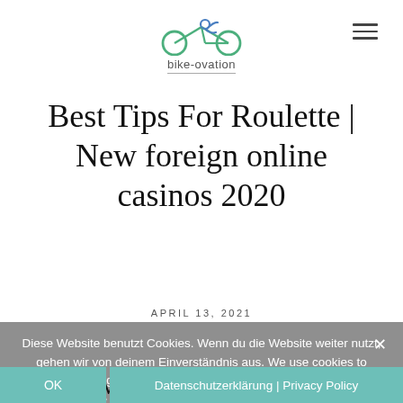bike-ovation
Best Tips For Roulette | New foreign online casinos 2020
APRIL 13, 2021
Diese Website benutzt Cookies. Wenn du die Website weiter nutzt, gehen wir von deinem Einverständnis aus. We use cookies to ensure that we give you the best experience on our website. If you continue to use this site we will assume that you are happy with it.
How to win at slot machines
OK   Datenschutzerklärung | Privacy Policy